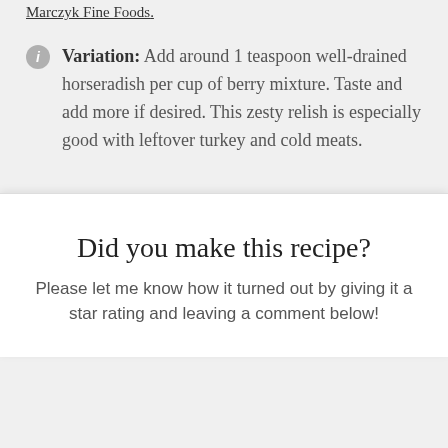Marczyk Fine Foods.
Variation: Add around 1 teaspoon well-drained horseradish per cup of berry mixture. Taste and add more if desired. This zesty relish is especially good with leftover turkey and cold meats.
Did you make this recipe?
Please let me know how it turned out by giving it a star rating and leaving a comment below!